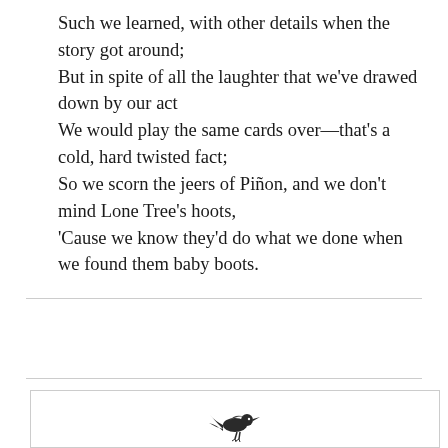Such we learned, with other details when the story got around;
But in spite of all the laughter that we've drawed down by our act
We would play the same cards over—that's a cold, hard twisted fact;
So we scorn the jeers of Piñon, and we don't mind Lone Tree's hoots,
'Cause we know they'd do what we done when we found them baby boots.
[Figure (illustration): Small decorative bird illustration at the bottom of the page inside a bordered box]